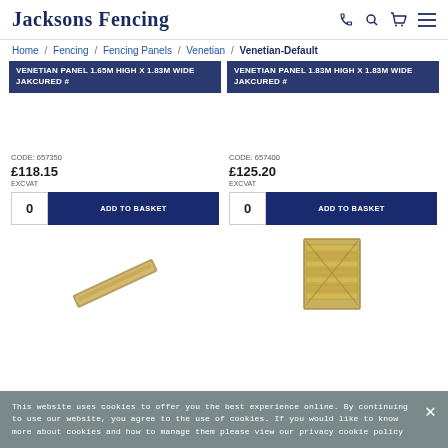Jacksons Fencing
Home / Fencing / Fencing Panels / Venetian / Venetian-Default
VENETIAN PANEL 1.65M HIGH X 1.83M WIDE JAKCURED #
CODE: 657350
£118.15
EXCVAT
VENETIAN PANEL 1.83M HIGH X 1.83M WIDE JAKCURED #
CODE: 657400
£125.20
EXCVAT
[Figure (photo): Diagonal post/rail piece in tan/gold color]
[Figure (photo): Venetian fencing panel in tan/wood color with horizontal slats]
This website uses cookies to offer you the best experience online. By continuing to use our website, you agree to the use of cookies. If you would like to know more about cookies and how to manage them please view our privacy cookie policy